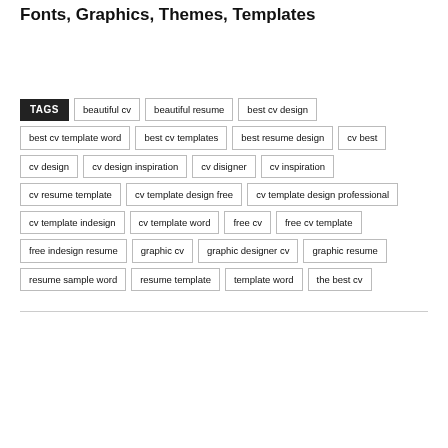Fonts, Graphics, Themes, Templates
TAGS beautiful cv beautiful resume best cv design best cv template word best cv templates best resume design cv best cv design cv design inspiration cv disigner cv inspiration cv resume template cv template design free cv template design professional cv template indesign cv template word free cv free cv template free indesign resume graphic cv graphic designer cv graphic resume resume sample word resume template template word the best cv